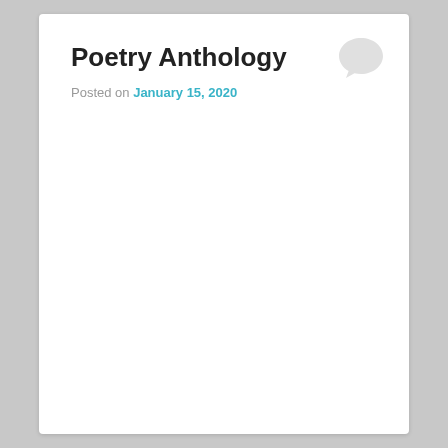Poetry Anthology
Posted on January 15, 2020
[Figure (illustration): Speech bubble / comment icon in light gray, positioned top-right]